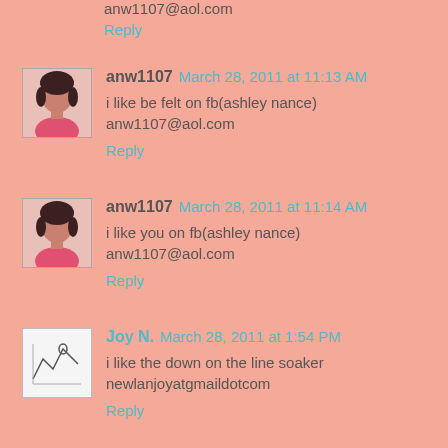anw1107@aol.com
Reply
[Figure (photo): Small avatar photo of a woman in a pink top]
anw1107  March 28, 2011 at 11:13 AM
i like be felt on fb(ashley nance) anw1107@aol.com
Reply
[Figure (photo): Small avatar photo of a woman in a pink top]
anw1107  March 28, 2011 at 11:14 AM
i like you on fb(ashley nance) anw1107@aol.com
Reply
[Figure (illustration): Small avatar with line drawing/map icon]
Joy N.  March 28, 2011 at 1:54 PM
i like the down on the line soaker newlanjoyatgmaildotcom
Reply